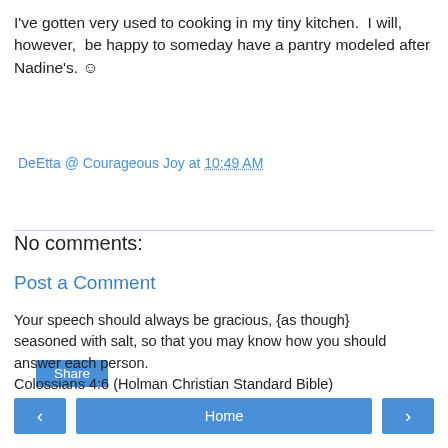I've gotten very used to cooking in my tiny kitchen. I will, however, be happy to someday have a pantry modeled after Nadine's. ☺
DeEtta @ Courageous Joy at 10:49 AM
Share
No comments:
Post a Comment
Your speech should always be gracious, {as though} seasoned with salt, so that you may know how you should answer each person. Colossians 4:6 (Holman Christian Standard Bible)
‹  Home  ›